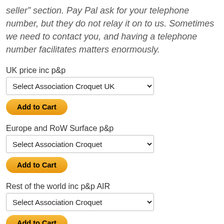seller” section. Pay Pal ask for your telephone number, but they do not relay it on to us. Sometimes we need to contact you, and having a telephone number facilitates matters enormously.
UK price inc p&p
Select Association Croquet UK (dropdown)
Add to Cart
Europe and RoW Surface p&p
Select Association Croquet (dropdown)
Add to Cart
Rest of the world inc p&p AIR
Select Association Croquet (dropdown)
Add to Cart